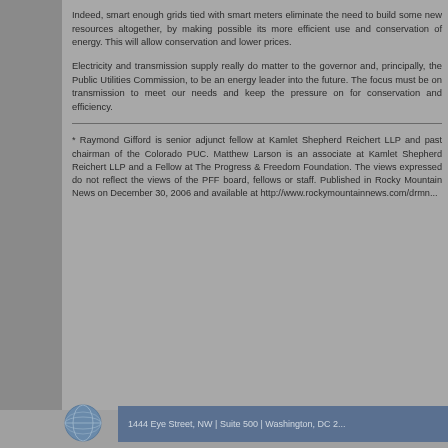Indeed, smart enough grids tied with smart meters eliminate the need to build some new resources altogether, by making possible its more efficient use and conservation of energy. This will allow conservation and lower prices.
Electricity and transmission supply really do matter to the governor and, principally, the Public Utilities Commission, to be an energy leader into the future. The focus must be on transmission to meet our needs and keep the pressure on for conservation and efficiency.
* Raymond Gifford is senior adjunct fellow at Kamlet Shepherd Reichert LLP and past chairman of the Colorado PUC. Matthew Larson is an associate at Kamlet Shepherd Reichert LLP and a Fellow at The Progress & Freedom Foundation. The views expressed do not reflect the views of the PFF board, fellows or staff. Published in Rocky Mountain News on December 30, 2006 and available at http://www.rockymountainnews.com/drmn...
1444 Eye Street, NW | Suite 500 | Washington, DC 2...